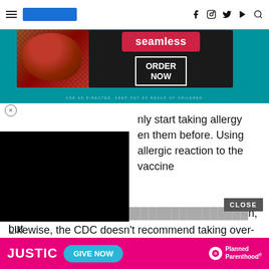Navigation bar with hamburger menu, logo, and social icons (f, Instagram, Twitter, YouTube, Search)
[Figure (screenshot): Seamless food delivery advertisement banner with pizza image, red Seamless badge, and ORDER NOW button on dark background over teal background]
No. The experts said you should only start taking allergy [medications if you've been] taking them before. Using [antihistamines could mask an] allergic reaction to the vaccine
Likewise, the CDC doesn't recommend taking over-the-counter medicine, such as ibuprofen, aspirin, or acetaminophen, before vaccination for the purpose of trying to prevent vaccine-related side effects.
[Figure (screenshot): Planned Parenthood / JUSTIC donation advertisement banner with pink background, GIVE NOW button]
If your [doctor has recommended... ] n, but